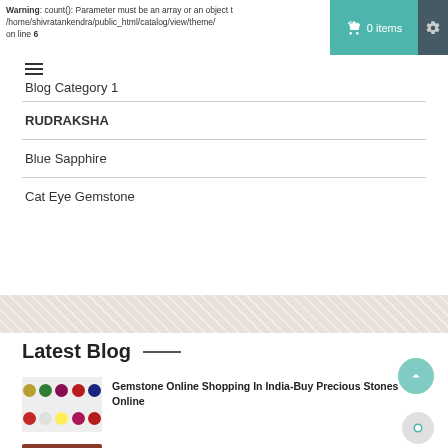Warning: count(): Parameter must be an array or an object that /home/shivratankendra/public_html/catalog/view/theme/ on line 6
[Figure (screenshot): Shopping cart bar with teal background showing cart icon and '0 items', and dark blue settings gear icon]
[Figure (other): Hamburger menu icon (three horizontal lines)]
Blog Category 1
RUDRAKSHA
Blue Sapphire
Cat Eye Gemstone
[Figure (other): Decorative diagonal stripe pattern banner]
Latest Blog
[Figure (photo): Grid of gemstone images showing colored stones in two rows]
Gemstone Online Shopping In India-Buy Precious Stones Online
[Figure (photo): Small thumbnail photo for Hessonite blog post]
Hessonite: a stone filled with energies